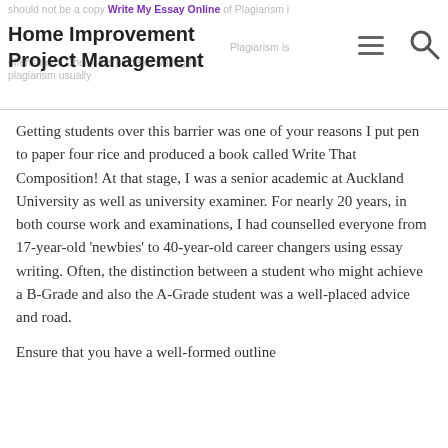Home Improvement Project Management
should not be a copy Write My Essay Online of Plagiarism is offensment. Check the piece of writing for plagiarism usually
Getting students over this barrier was one of your reasons I put pen to paper four rice and produced a book called Write That Composition! At that stage, I was a senior academic at Auckland University as well as university examiner. For nearly 20 years, in both course work and examinations, I had counselled everyone from 17-year-old ‘newbies’ to 40-year-old career changers using essay writing. Often, the distinction between a student who might achieve a B-Grade and also the A-Grade student was a well-placed advice and road.
Ensure that you have a well-formed outline